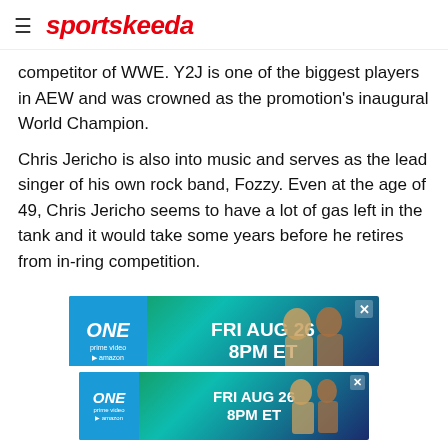sportskeeda
competitor of WWE. Y2J is one of the biggest players in AEW and was crowned as the promotion's inaugural World Champion.
Chris Jericho is also into music and serves as the lead singer of his own rock band, Fozzy. Even at the age of 49, Chris Jericho seems to have a lot of gas left in the tank and it would take some years before he retires from in-ring competition.
[Figure (screenshot): Advertisement banner: ONE Championship on Amazon Prime Video - FRI AUG 26 8PM ET, with fighter images]
#8 Big Show
[Figure (screenshot): Advertisement banner (bottom overlay): ONE Championship on Amazon Prime Video - FRI AUG 26 8PM ET, with fighter images]